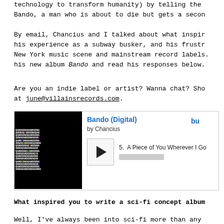technology to transform humanity) by telling the story of Bando, a man who is about to die but gets a second chance.
By email, Chancius and I talked about what inspired his experience as a subway busker, and his frustration with the New York music scene and mainstream record labels. Listen to his new album Bando and read his responses below.
Are you an indie label or artist? Wanna chat? Shoot me at june@villainsrecords.com.
[Figure (screenshot): Bandcamp embedded music player showing album 'Bando (Digital)' by Chancius. Album art is a dense pattern of 'BANDO' and 'DNA' text in black and white with colored letters. Track 5: A Piece of You Wherever I Go is shown with a play button and progress bar.]
What inspired you to write a sci-fi concept album?
Well, I've always been into sci-fi more than any